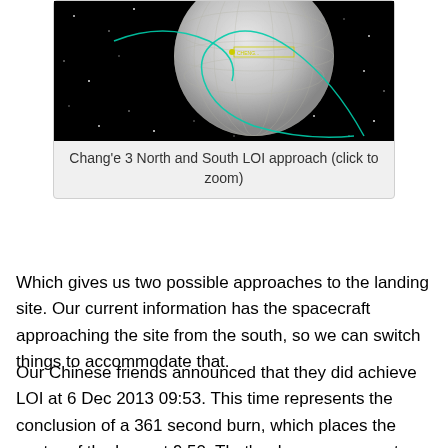[Figure (screenshot): Simulation/visualization of Chang'e 3 spacecraft showing North and South LOI approach trajectory around the Moon against a black starfield background]
Chang'e 3 North and South LOI approach (click to zoom)
Which gives us two possible approaches to the landing site.  Our current information has the spacecraft approaching the site from the south, so we can switch things to accommodate that.
Our Chinese friends announced that they did achieve LOI at 6 Dec 2013 09:53.  This time represents the conclusion of a 361 second burn, which places the center of the burn at 9:50.  That's where we can put our impulsive LOI maneuver.